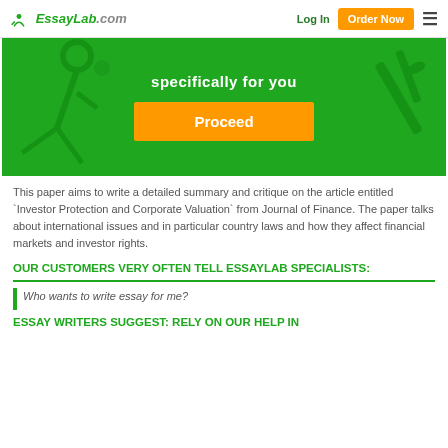EssayLab.com  Log In  Order Now
[Figure (other): Green promotional banner with 'specifically for you' text and orange Proceed button, with decorative watermark figures on left and right]
This paper aims to write a detailed summary and critique on the article entitled `Investor Protection and Corporate Valuation` from Journal of Finance. The paper talks about international issues and in particular country laws and how they affect financial markets and investor rights.
OUR CUSTOMERS VERY OFTEN TELL ESSAYLAB SPECIALISTS:
Who wants to write essay for me?
ESSAY WRITERS SUGGEST: RELY ON OUR HELP IN